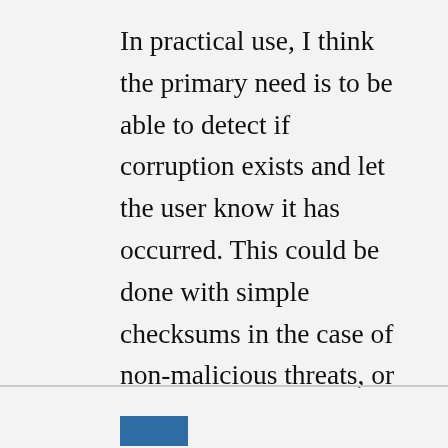In practical use, I think the primary need is to be able to detect if corruption exists and let the user know it has occurred. This could be done with simple checksums in the case of non-malicious threats, or with digital signatures in the case of malicious threats. If you find that your document has been compromised, then ask the originator to re-send.
Reply